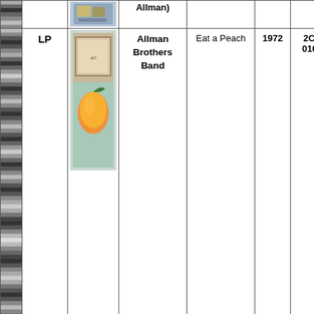|  | Type | Image | Artist | Album | Year | Catalog | Notes |
| --- | --- | --- | --- | --- | --- | --- | --- |
|  |  | [image] | (Allman) |  |  |  | recording |
|  | LP | [image] | Allman Brothers Band | Eat a Peach | 1972 | 2CP 0102 | Capricorn Record Label; Album cover and recording appear new; Double record set; Gatefold cover; Includes the original inner photo/song title/lyric/credits insert; Track listing: Ain't Wastin' Time No More; Les Brers In A Minor; Melissa; Mountain Jam; One Way Out; Trouble No More; Statesboro Back; Blue Sky; Little Martha; Mountain Jam |